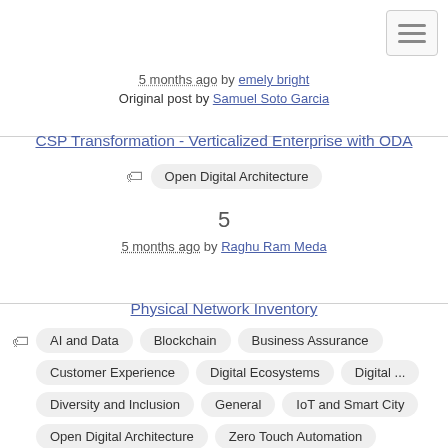[Figure (other): Hamburger menu button icon (three horizontal lines) in top-right corner]
5 months ago by emely bright
Original post by Samuel Soto Garcia
CSP Transformation - Verticalized Enterprise with ODA
Open Digital Architecture
5
5 months ago by Raghu Ram Meda
Physical Network Inventory
AI and Data
Blockchain
Business Assurance
Customer Experience
Digital Ecosystems
Digital ...
Diversity and Inclusion
General
IoT and Smart City
Open Digital Architecture
Zero Touch Automation
5